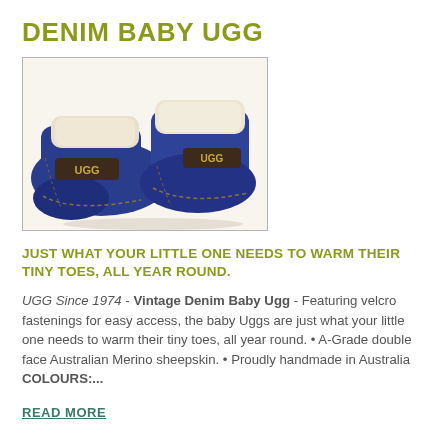DENIM BABY UGG
[Figure (photo): Two denim blue UGG baby booties/shoes with cream sheepskin lining and UGG logo labels, photographed on a white background.]
JUST WHAT YOUR LITTLE ONE NEEDS TO WARM THEIR TINY TOES, ALL YEAR ROUND.
UGG Since 1974 - Vintage Denim Baby Ugg - Featuring velcro fastenings for easy access, the baby Uggs are just what your little one needs to warm their tiny toes, all year round. • A-Grade double face Australian Merino sheepskin. • Proudly handmade in Australia COLOURS:...
READ MORE